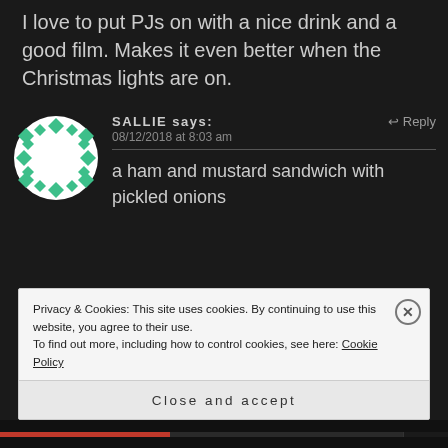I love to put PJs on with a nice drink and a good film. Makes it even better when the Christmas lights are on.
[Figure (illustration): Circular avatar with green and white diamond/argyle pattern on dark background]
SALLIE says:
08/12/2018 at 8:03 am
a ham and mustard sandwich with pickled onions
Privacy & Cookies: This site uses cookies. By continuing to use this website, you agree to their use.
To find out more, including how to control cookies, see here: Cookie Policy
Close and accept